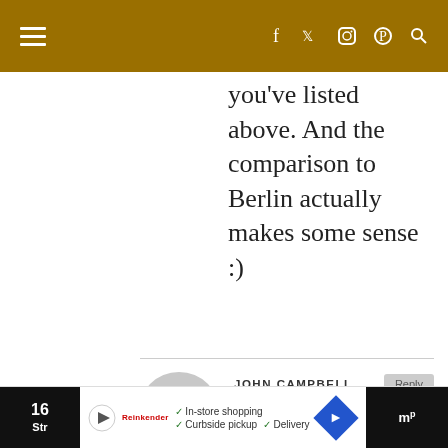Navigation bar with hamburger menu and social icons (Facebook, Twitter, Instagram, Pinterest, Search)
you've listed above. And the comparison to Berlin actually makes some sense :)
JOHN CAMPBELL
09/10/2017 at 23:07
Kami, I was interested in Katowice even before reading this article. So many things about it